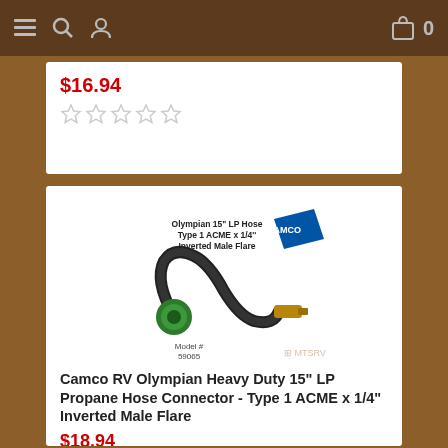Navigation bar with menu, search, profile icons and shopping cart with 0 items
$16.94
[Figure (other): 5 empty/unfilled star rating icons]
[Figure (photo): Camco RV Olympian 15" LP Hose Type 1 ACME x 1/4" Inverted Male Flare - Model # 59065. Shows a black rubber hose with green connector on one end and brass fitting on the other.]
Camco RV Olympian Heavy Duty 15" LP Propane Hose Connector - Type 1 ACME x 1/4" Inverted Male Flare
$18.94